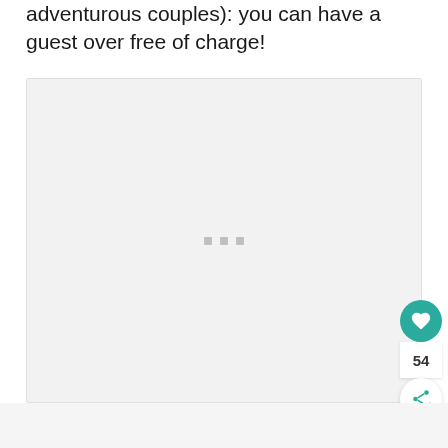adventurous couples): you can have a guest over free of charge!
[Figure (photo): A large light grey image placeholder box with three small grey square dots centered near the middle-lower area, indicating a loading or empty image state.]